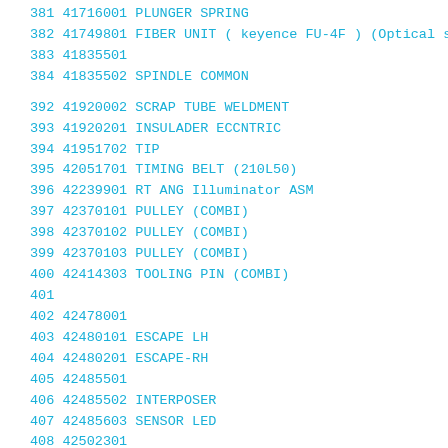381 41716001 PLUNGER SPRING
382 41749801 FIBER UNIT ( keyence FU-4F ) (Optical sensor)
383 41835501
384 41835502 SPINDLE COMMON
392 41920002 SCRAP TUBE WELDMENT
393 41920201 INSULADER ECCNTRIC
394 41951702 TIP
395 42051701 TIMING BELT (210L50)
396 42239901 RT ANG Illuminator ASM
397 42370101 PULLEY (COMBI)
398 42370102 PULLEY (COMBI)
399 42370103 PULLEY (COMBI)
400 42414303 TOOLING PIN (COMBI)
401
402 42478001
403 42480101 ESCAPE LH
404 42480201 ESCAPE-RH
405 42485501
406 42485502 INTERPOSER
407 42485603 SENSOR LED
408 42502301